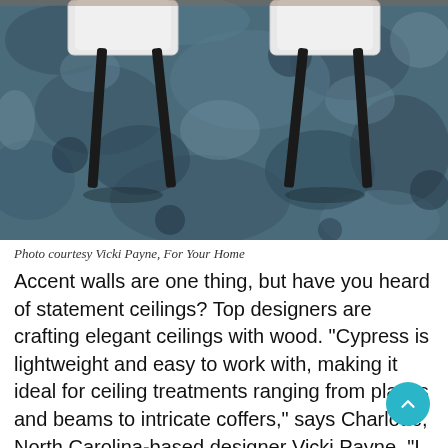[Figure (photo): Aerial/top-down view of two white chairs with black legs on a blue-grey mottled rug or flooring surface]
Photo courtesy Vicki Payne, For Your Home
Accent walls are one thing, but have you heard of statement ceilings? Top designers are crafting elegant ceilings with wood. "Cypress is lightweight and easy to work with, making it ideal for ceiling treatments ranging from planks and beams to intricate coffers," says Charlotte, North Carolina-based designer Vicki Payne. "I recently completed a chic dining room that features a tray ceiling enhanced with cypress. The wood, with its rich grain and natural color, is the showpiece